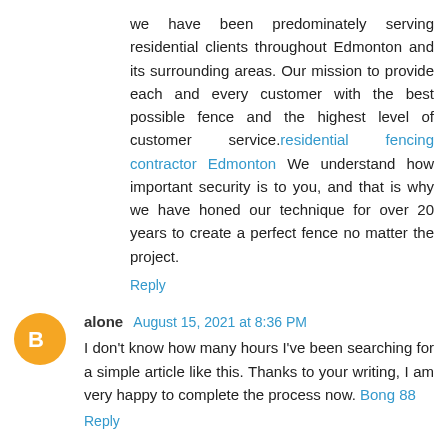we have been predominately serving residential clients throughout Edmonton and its surrounding areas. Our mission to provide each and every customer with the best possible fence and the highest level of customer service. residential fencing contractor Edmonton We understand how important security is to you, and that is why we have honed our technique for over 20 years to create a perfect fence no matter the project.
Reply
alone August 15, 2021 at 8:36 PM
I don't know how many hours I've been searching for a simple article like this. Thanks to your writing, I am very happy to complete the process now. Bong 88
Reply
bestbus August 16, 2021 at 1:10 AM
I found this is very helpful. Thanks to you.